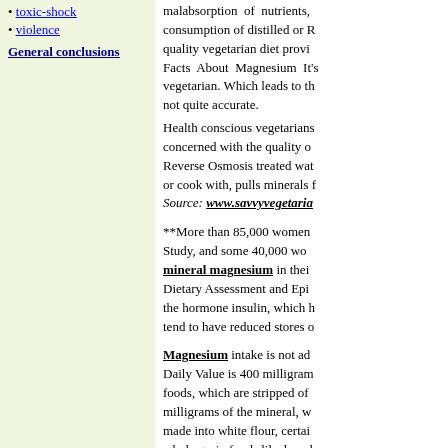• toxic-shock
• violence
General conclusions
malabsorption of nutrients, consumption of distilled or R... quality vegetarian diet provi... Facts About Magnesium It's vegetarian. Which leads to th... not quite accurate.
Health conscious vegetarians concerned with the quality o... Reverse Osmosis treated wat... or cook with, pulls minerals f...
Source: www.savvyvegetaria...
**More than 85,000 women... Study, and some 40,000 wo... mineral magnesium in thei... Dietary Assessment and Epi... the hormone insulin, which h... tend to have reduced stores o...
Magnesium intake is not ad... Daily Value is 400 milligram... foods, which are stripped of... milligrams of the mineral, w... made into white flour, certai... whole-grain foods like brea... the following text:
To consume the recommende... a large amount of the miner...
Food: